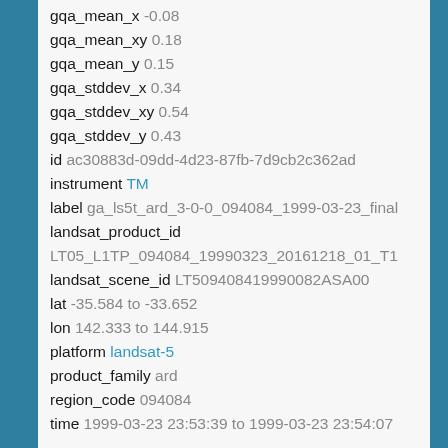gqa_mean_x -0.08
gqa_mean_xy 0.18
gqa_mean_y 0.15
gqa_stddev_x 0.34
gqa_stddev_xy 0.54
gqa_stddev_y 0.43
id ac30883d-09dd-4d23-87fb-7d9cb2c362ad
instrument TM
label ga_ls5t_ard_3-0-0_094084_1999-03-23_final
landsat_product_id
LT05_L1TP_094084_19990323_20161218_01_T1
landsat_scene_id LT509408419990082ASA00
lat -35.584 to -33.652
lon 142.333 to 144.915
platform landsat-5
product_family ard
region_code 094084
time 1999-03-23 23:53:39 to 1999-03-23 23:54:07